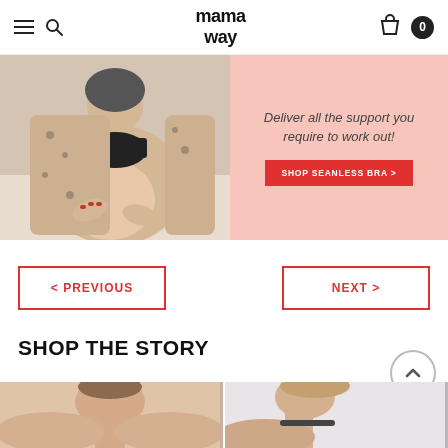mamaway — navigation header with hamburger menu, search, logo, cart
[Figure (photo): E-commerce website screenshot showing a pregnant woman in a leopard print robe holding her belly, next to a pink banner saying 'Deliver all the support you require to work out!' with a red 'SHOP SEANLESS BRA >' button]
< PREVIOUS
NEXT >
SHOP THE STORY
[Figure (photo): Two product photos of women wearing maternity bras/tops, partially visible at the bottom of the page]